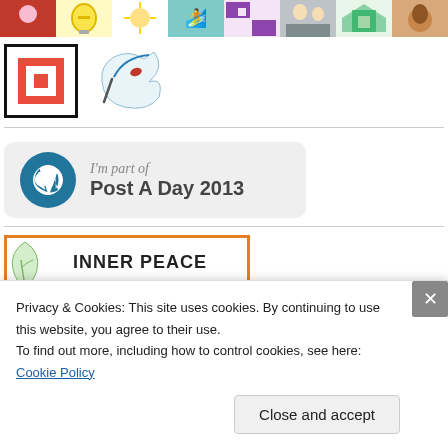[Figure (photo): Row of avatar/profile images and icons including a woman in red, lightbulb icon, sun graphic, action photo, purple pattern, people photo, green geometric pattern, dog photo]
[Figure (logo): Two logos: a red and black square logo and a bird/quill logo]
[Figure (logo): WordPress badge: I'm part of Post A Day 2013]
[Figure (illustration): Inner Peace banner with orange border and leaf illustration]
Privacy & Cookies: This site uses cookies. By continuing to use this website, you agree to their use.
To find out more, including how to control cookies, see here: Cookie Policy
Close and accept